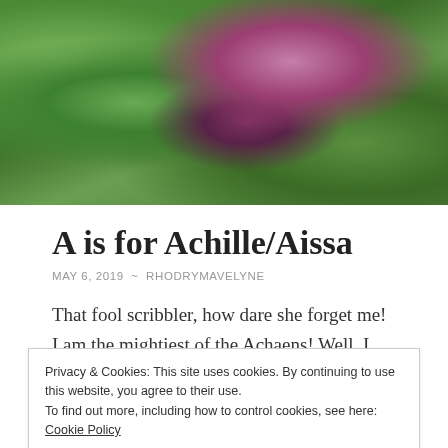[Figure (photo): Photograph of pink/purple magnolia flowers with green leaves and trees in background]
A is for Achille/Aissa
MAY 6, 2019 ~ RHODRYMAVELYNE
That fool scribbler, how dare she forget me! I am the mightiest of the Achaens! Well, I am here now, apart from the rabble from that Blogging From AZ April
Privacy & Cookies: This site uses cookies. By continuing to use this website, you agree to their use.
To find out more, including how to control cookies, see here: Cookie Policy
Close and accept
batting his brother, I found myself pitted against one